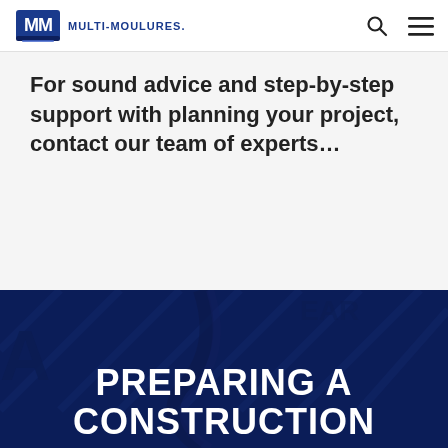MULTI-MOULURES
For sound advice and step-by-step support with planning your project, contact our team of experts…
[Figure (photo): Dark blue toned industrial/construction equipment background with diamond plate texture and cables visible]
PREPARING A CONSTRUCTION